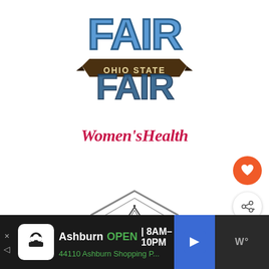[Figure (logo): Ohio State Fair logo with large stylized FAIR text and banner reading OHIO STATE]
[Figure (logo): Women's Health magazine logo in bold italic crimson/red serif font]
[Figure (logo): Geek Gear logo inside a hexagonal badge shape with triangle/mountain icon above text]
[Figure (other): Orange circular heart/like button and white circular share button on right side]
[Figure (other): What's Next panel showing Pancake Tacos with food image]
Ashburn  OPEN | 8AM-10PM
44110 Ashburn Shopping P...